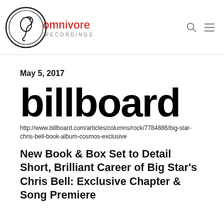[Figure (logo): Omnivore Recordings logo — circular seahorse emblem with 'omnivore' in red and 'RECORDINGS' in gray]
May 5, 2017
[Figure (logo): Billboard magazine wordmark in bold black sans-serif type]
http://www.billboard.com/articles/columns/rock/7784886/big-star-chris-bell-book-album-cosmos-exclusive
New Book & Box Set to Detail Short, Brilliant Career of Big Star's Chris Bell: Exclusive Chapter & Song Premiere